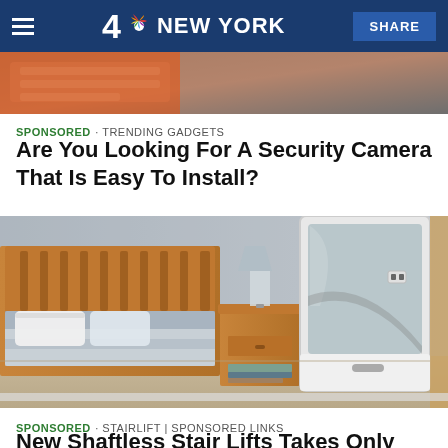4 NBC NEW YORK | SHARE
[Figure (photo): Partial image of orange/brown fabric or clothing at top of page]
SPONSORED · TRENDING GADGETS
Are You Looking For A Security Camera That Is Easy To Install?
[Figure (photo): Photo of a home elevator/stairlift unit in a bedroom setting, with a wooden bed and nightstand visible]
SPONSORED · STAIRLIFT | SPONSORED LINKS
New Shaftless Stair Lifts Takes Only Hours To